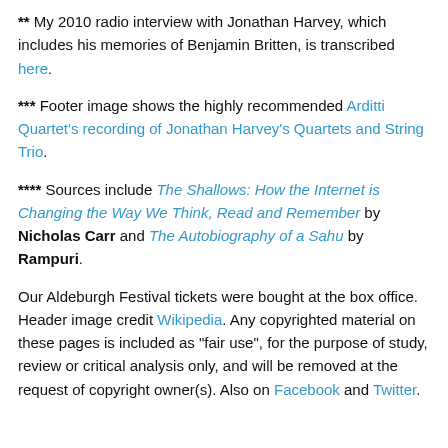** My 2010 radio interview with Jonathan Harvey, which includes his memories of Benjamin Britten, is transcribed here.
*** Footer image shows the highly recommended Arditti Quartet's recording of Jonathan Harvey's Quartets and String Trio.
**** Sources include The Shallows: How the Internet is Changing the Way We Think, Read and Remember by Nicholas Carr and The Autobiography of a Sahu by Rampuri.
Our Aldeburgh Festival tickets were bought at the box office. Header image credit Wikipedia. Any copyrighted material on these pages is included as "fair use", for the purpose of study, review or critical analysis only, and will be removed at the request of copyright owner(s). Also on Facebook and Twitter.